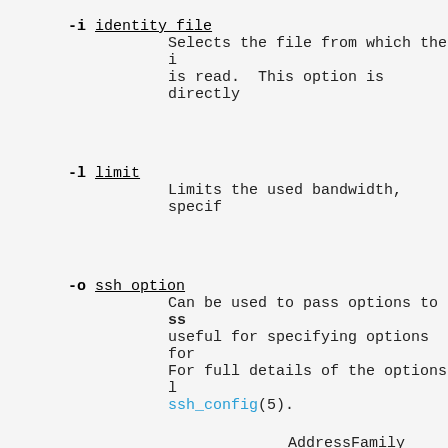-i identity_file
    Selects the file from which the i
    is read.  This option is directly
-l limit
    Limits the used bandwidth, specif
-o ssh_option
    Can be used to pass options to ss
    useful for specifying options for
    For full details of the options l
    ssh_config(5).

    AddressFamily
    BatchMode
    BindAddress
    CanonicalDomains
    CanonicalizeFallbackLocal
    CanonicalizeHostname